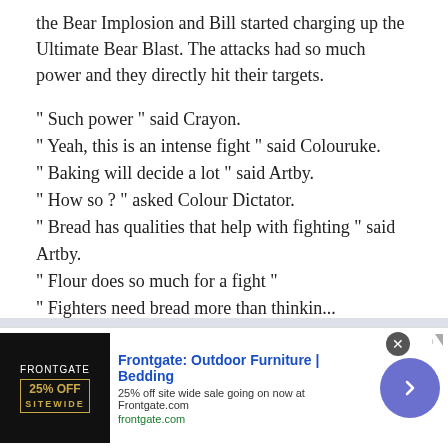the Bear Implosion and Bill started charging up the Ultimate Bear Blast. The attacks had so much power and they directly hit their targets.

" Such power " said Crayon.
" Yeah, this is an intense fight " said Colouruke.
" Baking will decide a lot " said Artby.
" How so ? " asked Colour Dictator.
" Bread has qualities that help with fighting " said Artby.
" Flour does so much for a fight "
" Fighters need bread more than thinking, along with...
This website uses cookies to ensure you get the best experience on our website. Learn more
[Figure (other): Frontgate advertisement banner: Outdoor Furniture | Bedding. 25% off site wide sale. frontgate.com]